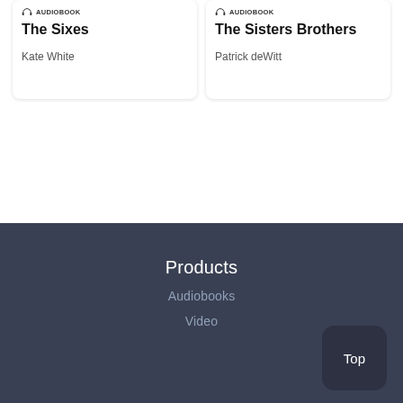[Figure (screenshot): Card for audiobook 'The Sixes' by Kate White, with headphone icon and AUDIOBOOK label]
[Figure (screenshot): Card for audiobook 'The Sisters Brothers' by Patrick deWitt, with headphone icon and AUDIOBOOK label]
Products
Audiobooks
Video